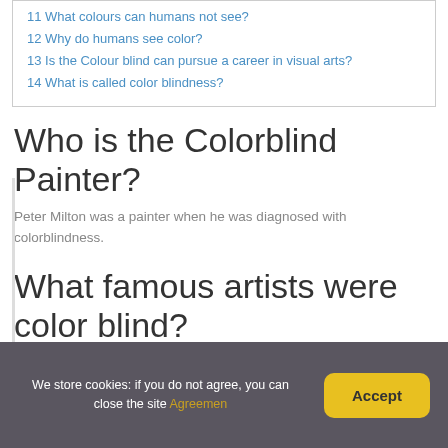11 What colours can humans not see?
12 Why do humans see color?
13 Is the Colour blind can pursue a career in visual arts?
14 What is called color blindness?
Who is the Colorblind Painter?
Peter Milton was a painter when he was diagnosed with colorblindness.
What famous artists were color blind?
We store cookies: if you do not agree, you can close the site Agreemen
Accept